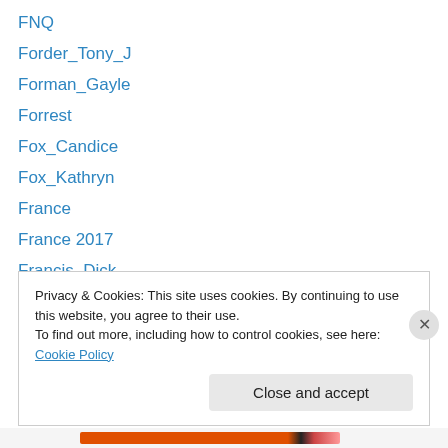FNQ
Forder_Tony_J
Forman_Gayle
Forrest
Fox_Candice
Fox_Kathryn
France
France 2017
Francis_Dick
Francis_Felix
Friday Flower Festival
Fromelles
Fromelles
Privacy & Cookies: This site uses cookies. By continuing to use this website, you agree to their use.
To find out more, including how to control cookies, see here: Cookie Policy
Close and accept